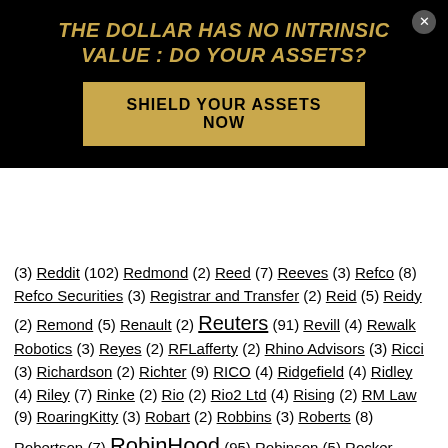THE DOLLAR HAS NO INTRINSIC VALUE : DO YOUR ASSETS?
SHIELD YOUR ASSETS NOW
(3) Reddit (102) Redmond (2) Reed (7) Reeves (3) Refco (8) Refco Securities (3) Registrar and Transfer (2) Reid (5) Reidy (2) Remond (5) Renault (2) Reuters (91) Revill (4) Rewalk Robotics (3) Reyes (2) RFLafferty (2) Rhino Advisors (3) Ricci (3) Richardson (2) Richter (9) RICO (4) Ridgefield (4) Ridley (4) Riley (7) Rinke (2) Rio (2) Rio2 Ltd (4) Rising (2) RM Law (9) RoaringKitty (3) Robart (2) Robbins (3) Roberts (8) Robertson (7) RobinHood (95) Robinson (5) Rocker Partners (5) Rodriguez (5) Rogers (3) Rogozinski (2) Rohner (2) Romboy (2) Romney (4) Ronk (5) Roosevelt (2) Rose (9) Rosen (2) Rosenberg (2) Rosenblatt (2) Rosen Law (13) Ross (9) Roth Capital (2) Rothschild (4) Royal Bank of Canada (3) Royer (3) Rozen (2) RSF (2) Rubin (6) Ruscoe (2) Rushe (3) Russell (2) Russia (25) Russian (54) RWLK (3) Ryan (8) S&D (2) S&P 500 (6) S&P Global (2) S3 Partners (7)